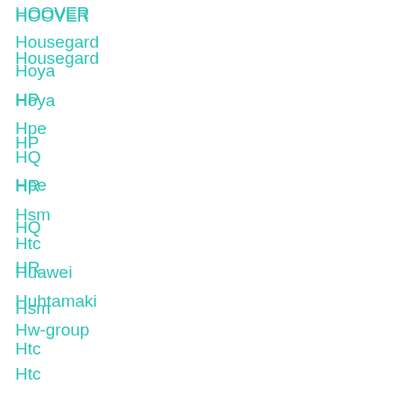HOOVER
Housegard
Hoya
HP
Hpe
HQ
HR
Hsm
Htc
Huawei
Huhtamaki
Hw-group